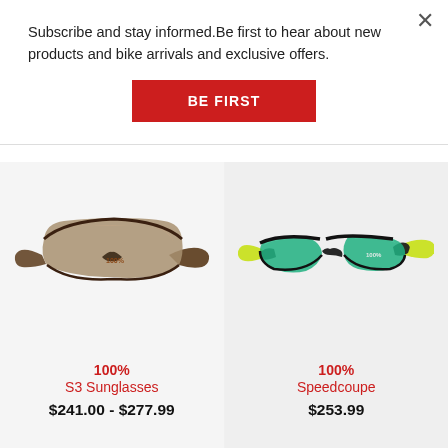Subscribe and stay informed.Be first to hear about new products and bike arrivals and exclusive offers.
[Figure (other): Red 'BE FIRST' button]
[Figure (photo): 100% S3 Sunglasses - brown/tort frame with silver mirrored shield lens]
100%
S3 Sunglasses
$241.00 - $277.99
[Figure (photo): 100% Speedcoupe sunglasses - black frame with yellow-green accents and green mirrored lenses]
100%
Speedcoupe
$253.99